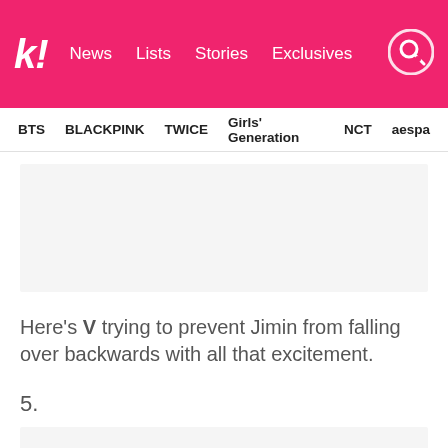k! News Lists Stories Exclusives
BTS BLACKPINK TWICE Girls' Generation NCT aespa
[Figure (other): Advertisement placeholder rectangle]
Here's V trying to prevent Jimin from falling over backwards with all that excitement.
5.
[Figure (other): Image placeholder rectangle at bottom]